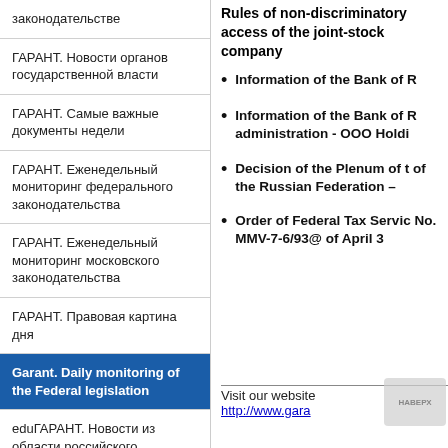законодательстве
ГАРАНТ. Новости органов государственной власти
ГАРАНТ. Самые важные документы недели
ГАРАНТ. Еженедельный мониторинг федерального законодательства
ГАРАНТ. Еженедельный мониторинг московского законодательства
ГАРАНТ. Правовая картина дня
Garant. Daily monitoring of the Federal legislation
eduГАРАНТ. Новости из области российского законодательства
ГАРАНТ. Мониторинг для бухгалтера бюджетной
Rules of non-discriminatory access of the joint-stock company
Information of the Bank of R
Information of the Bank of R administration - OOO Holdi
Decision of the Plenum of t of the Russian Federation –
Order of Federal Tax Servic No. MMV-7-6/93@ of April 3
Visit our website http://www.gara